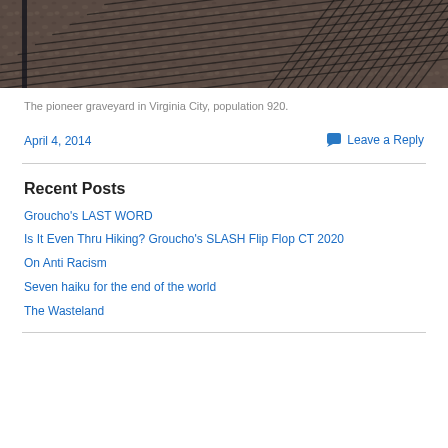[Figure (photo): Photo of a chain-link fence viewed from above, showing gravel/rocky ground through the diamond mesh pattern, taken in Virginia City.]
The pioneer graveyard in Virginia City, population 920.
April 4, 2014
Leave a Reply
Recent Posts
Groucho's LAST WORD
Is It Even Thru Hiking? Groucho's SLASH Flip Flop CT 2020
On Anti Racism
Seven haiku for the end of the world
The Wasteland